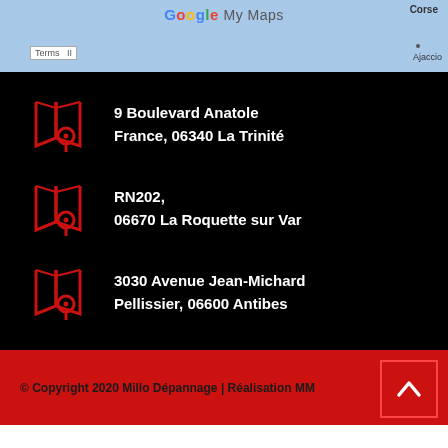[Figure (screenshot): Google My Maps screenshot showing part of Corsica with Ajaccio label, Terms link visible]
9 Boulevard Anatole
France, 06340 La Trinité
RN202,
06670 La Roquette sur Var
3030 Avenue Jean-Michard
Pellissier, 06600 Antibes
© Copyright 2020 Millo Dépannage | Réalisation MM